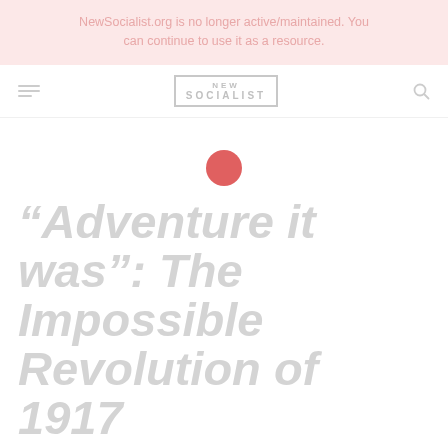NewSocialist.org is no longer active/maintained. You can continue to use it as a resource.
[Figure (logo): New Socialist logo in grey box with hamburger menu icon on left and search icon on right]
[Figure (illustration): Red circular dot centered on white background]
“Adventure it was”: The Impossible Revolution of 1917